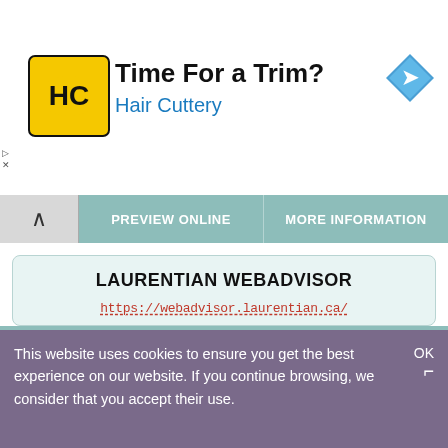[Figure (screenshot): Hair Cuttery advertisement banner with logo (HC in yellow square), title 'Time For a Trim?', subtitle 'Hair Cuttery', and a blue direction arrow icon on the right]
PREVIEW ONLINE | MORE INFORMATION
LAURENTIAN WEBADVISOR
https://webadvisor.laurentian.ca/
Webadvisor Password Now Synchronized with Your LUid Password As a reminder, please do not share your password and keep it safe. If you have any ...
STATUS: ACTIVE
This website uses cookies to ensure you get the best experience on our website. If you continue browsing, we consider that you accept their use.